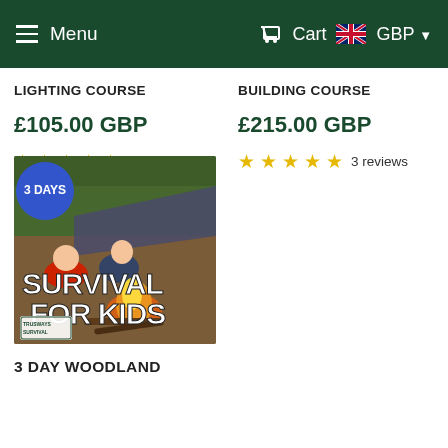Menu  Cart  GBP
LIGHTING COURSE
£105.00 GBP
4 reviews
BUILDING COURSE
£215.00 GBP
3 reviews
[Figure (photo): Outdoor survival course for kids with adults and children around a campfire in a woodland setting. Text overlay reads 'SURVIVAL FOR KIDS', blue badge reads '3 DAYS', Trusways Survival logo in bottom left corner.]
3 DAY WOODLAND